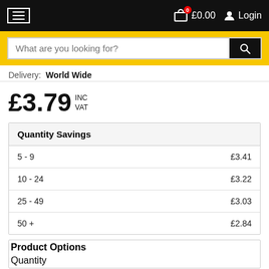≡   £0.00  Login
What are you looking for?
Delivery: World Wide
£3.79 INC VAT
| Quantity Savings |  |
| --- | --- |
| 5 - 9 | £3.41 |
| 10 - 24 | £3.22 |
| 25 - 49 | £3.03 |
| 50 + | £2.84 |
| Product Options |  |
| --- | --- |
| Quantity |  |